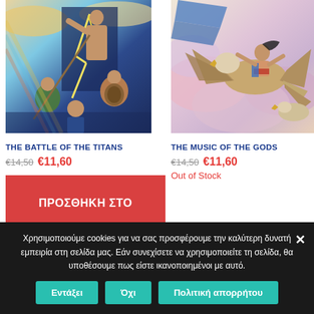[Figure (illustration): Greek mythology illustration - The Battle of the Titans showing Zeus with lightning bolts and warriors in colorful art style]
[Figure (illustration): Greek mythology illustration - The Music of the Gods showing a figure riding an eagle in colorful art style]
THE BATTLE OF THE TITANS
THE MUSIC OF THE GODS
€14,50  €11,60
€14,50  €11,60
Out of Stock
ΠΡΟΣΘΗΚΗ ΣΤΟ ΚΑΛΑΘΙ
Χρησιμοποιούμε cookies για να σας προσφέρουμε την καλύτερη δυνατή εμπειρία στη σελίδα μας. Εάν συνεχίσετε να χρησιμοποιείτε τη σελίδα, θα υποθέσουμε πως είστε ικανοποιημένοι με αυτό.
Εντάξει
Όχι
Πολιτική απορρήτου